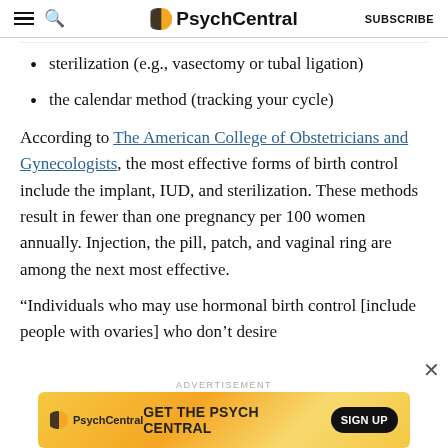PsychCentral | SUBSCRIBE
sterilization (e.g., vasectomy or tubal ligation)
the calendar method (tracking your cycle)
According to The American College of Obstetricians and Gynecologists, the most effective forms of birth control include the implant, IUD, and sterilization. These methods result in fewer than one pregnancy per 100 women annually. Injection, the pill, patch, and vaginal ring are among the next most effective.
“Individuals who may use hormonal birth control [include people with ovaries] who don’t desire
ADVERTISEMENT
[Figure (other): PsychCentral advertisement banner: GET THE PSYCH CENTRAL with SIGN UP button]